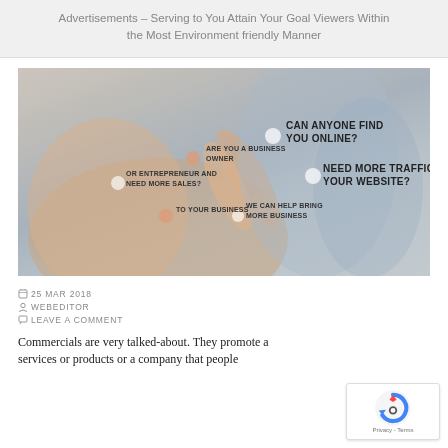Advertisements – Serving to You Attain Your Goal Viewers Within the Most Environment friendly Manner
[Figure (photo): A hand pointing finger at virtual screen with text bubbles: CAN ANYONE FIND YOU ONLINE?, ARE YOU A BUSINESS OWNER, OR ENTREPRENEUR AND NEED MORE SALES?, TO YOUR BUSINESS, WE CAN HELP BRING MORE BUSINESS, NEED MORE TRAFFIC TO YOUR WEBSITE?]
25 MAR 2018
WEBEDITOR
LEAVE A COMMENT
Commercials are very talked-about. They promote a services or products or a company that people